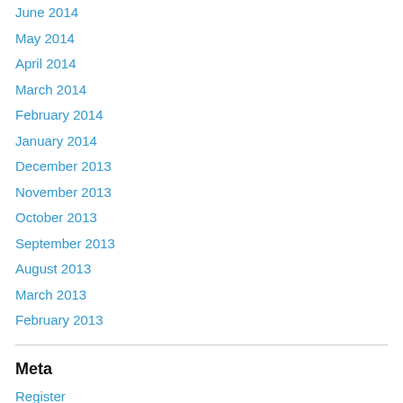June 2014
May 2014
April 2014
March 2014
February 2014
January 2014
December 2013
November 2013
October 2013
September 2013
August 2013
March 2013
February 2013
Meta
Register
Log in
Entries feed
Comments feed